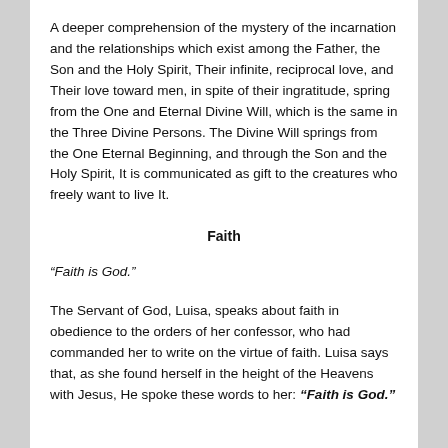A deeper comprehension of the mystery of the incarnation and the relationships which exist among the Father, the Son and the Holy Spirit, Their infinite, reciprocal love, and Their love toward men, in spite of their ingratitude, spring from the One and Eternal Divine Will, which is the same in the Three Divine Persons. The Divine Will springs from the One Eternal Beginning, and through the Son and the Holy Spirit, It is communicated as gift to the creatures who freely want to live It.
Faith
“Faith is God.”
The Servant of God, Luisa, speaks about faith in obedience to the orders of her confessor, who had commanded her to write on the virtue of faith. Luisa says that, as she found herself in the height of the Heavens with Jesus, He spoke these words to her: “Faith is God.”